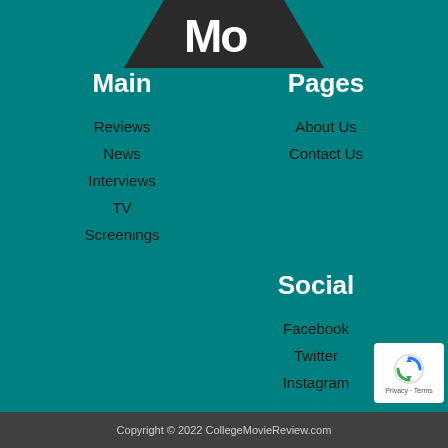[Figure (logo): Partial logo on dark triangular/banner shape showing 'Mo' letters in white bold text on dark background]
Main
Reviews
News
Interviews
TV
Screenings
Pages
About Us
Contact Us
Social
Facebook
Twitter
Instagram
Copyright © 2022 CollegeMovieReview.com